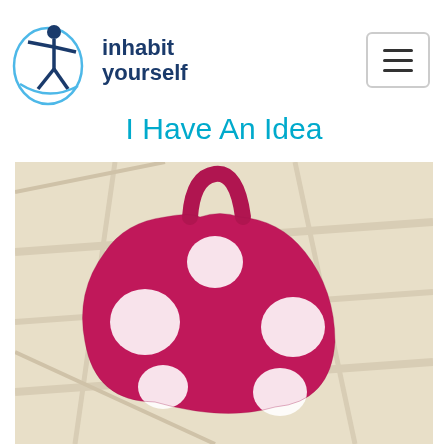[Figure (logo): Inhabit Yourself logo: blue figure with arms spread inside an oval, with text 'inhabit yourself' in dark navy blue bold font]
[Figure (other): Hamburger menu button: rounded rectangle border with three horizontal lines inside]
I Have An Idea
[Figure (photo): A hot water bottle cover made of fluffy pink/magenta fabric with large white polka dots and a loop handle at the top, photographed from above on a light wooden floor]